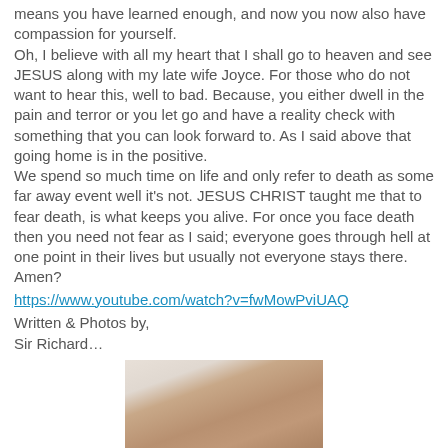means you have learned enough, and now you now also have compassion for yourself.
Oh, I believe with all my heart that I shall go to heaven and see JESUS along with my late wife Joyce. For those who do not want to hear this, well to bad. Because, you either dwell in the pain and terror or you let go and have a reality check with something that you can look forward to. As I said above that going home is in the positive.
We spend so much time on life and only refer to death as some far away event well it's not. JESUS CHRIST taught me that to fear death, is what keeps you alive. For once you face death then you need not fear as I said; everyone goes through hell at one point in their lives but usually not everyone stays there. Amen?
https://www.youtube.com/watch?v=fwMowPviUAQ
Written & Photos by,
Sir Richard…
[Figure (photo): A photograph showing what appears to be a person's arm or hand against a light background, partially visible at the bottom of the page.]